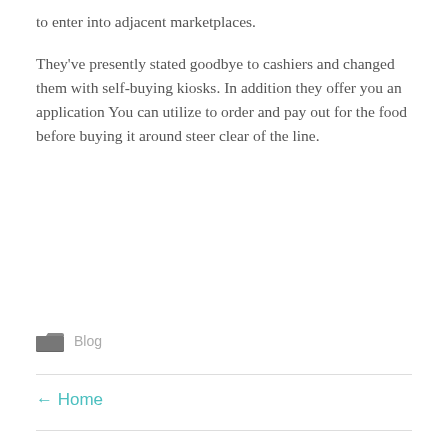to enter into adjacent marketplaces.
They've presently stated goodbye to cashiers and changed them with self-buying kiosks. In addition they offer you an application You can utilize to order and pay out for the food before buying it around steer clear of the line.
Blog
← Home